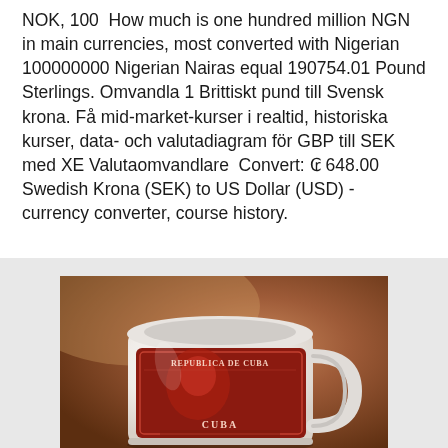NOK, 100  How much is one hundred million NGN in main currencies, most converted with Nigerian 100000000 Nigerian Nairas equal 190754.01 Pound Sterlings. Omvandla 1 Brittiskt pund till Svensk krona. Få mid-market-kurser i realtid, historiska kurser, data- och valutadiagram för GBP till SEK med XE Valutaomvandlare  Convert: ₢ 648.00 Swedish Krona (SEK) to US Dollar (USD) - currency converter, course history.
[Figure (photo): A coffee mug with Cuban stamp-style red and white design reading 'REPUBLICA DE CUBA' and 'CUBA' at the bottom, photographed against a warm blurred brown background.]